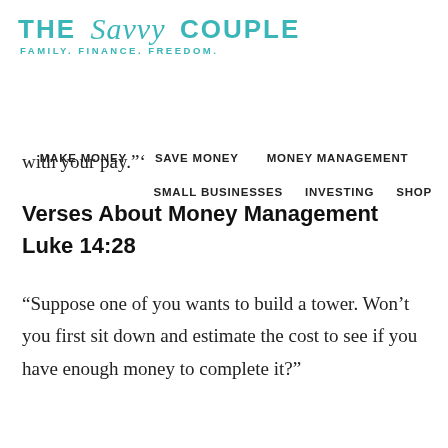THE Savvy COUPLE FAMILY. FINANCE. FREEDOM.
MAKE MONEY   SAVE MONEY   MONEY MANAGEMENT   SMALL BUSINESSES   INVESTING   SHOP
with your pay."'
Verses About Money Management Luke 14:28
“Suppose one of you wants to build a tower. Won’t you first sit down and estimate the cost to see if you have enough money to complete it?"